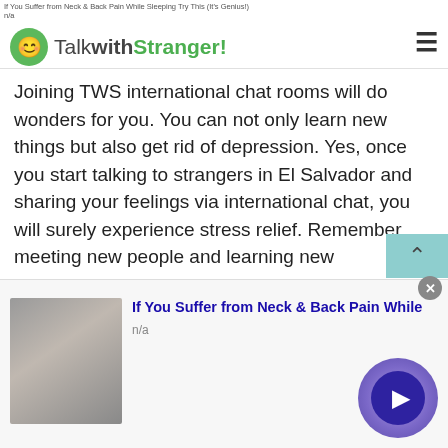If You Suffer from Neck & Back Pain While Sleeping Try This (It's Genius!) n/a >
TalkwithStranger!
Joining TWS international chat rooms will do wonders for you. You can not only learn new things but also get rid of depression. Yes, once you start talking to strangers in El Salvador and sharing your feelings via international chat, you will surely experience stress relief. Remember, meeting new people and learning new perspectives will help you see things with a broad vision. Yes, you can better understand things in a new way.
So, are you willing to make your moments happy and unforgettable? We suggest you avail the perks
[Figure (photo): Advertisement banner with photo of a person touching their neck/back in pain, with text 'If You Suffer from Neck & Back Pain While' and 'n/a']
[Figure (other): Blue circular play button in bottom right corner]